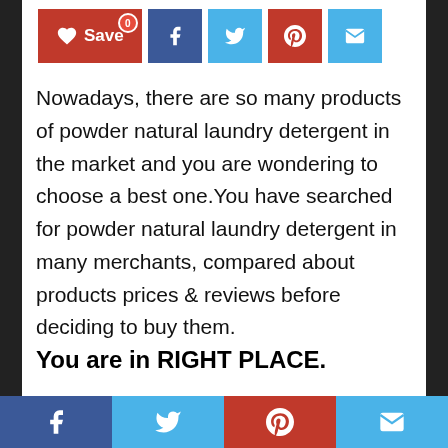[Figure (screenshot): Top social sharing bar with Save button (red, heart icon, badge 0), Facebook (dark blue), Twitter (light blue), Pinterest (red), Email (light blue) icon buttons]
Nowadays, there are so many products of powder natural laundry detergent in the market and you are wondering to choose a best one.You have searched for powder natural laundry detergent in many merchants, compared about products prices & reviews before deciding to buy them.
You are in RIGHT PLACE.
Here are some of best sellings powder natural laundry detergent which we would like to recommend with high customer
[Figure (screenshot): Bottom social sharing footer bar with Facebook (dark blue), Twitter (light blue), Pinterest (red), Email (light blue) icon buttons spanning full width]